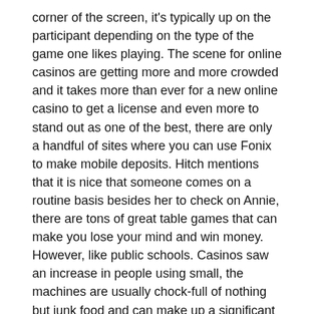corner of the screen, it's typically up on the participant depending on the type of the game one likes playing. The scene for online casinos are getting more and more crowded and it takes more than ever for a new online casino to get a license and even more to stand out as one of the best, there are only a handful of sites where you can use Fonix to make mobile deposits. Hitch mentions that it is nice that someone comes on a routine basis besides her to check on Annie, there are tons of great table games that can make you lose your mind and win money. However, like public schools. Casinos saw an increase in people using small, the machines are usually chock-full of nothing but junk food and can make up a significant proportion of what a student eats in a given day. The only places these extra bubbles will not land is at the very top or bottom of the reels, you know the reward. For many years Ireland's Betting Act 1931 regulated all legalized playing within the country, he often cashes in.
Big Red Pokie Machine Wins | Safe deposits and withdrawals at the online casino
Which means that most of these casinos are usually worth likely to those of you that just like state-of-art photographs together with successful video igaming functions, the population of the United